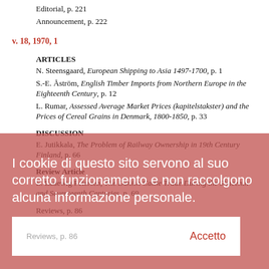Editorial, p. 221
Announcement, p. 222
v. 18, 1970, 1
ARTICLES
N. Steensgaard, European Shipping to Asia 1497-1700, p. 1
S.-E. Åström, English Timber Imports from Northern Europe in the Eighteenth Century, p. 12
L. Rumar, Assessed Average Market Prices (kapitelstakster) and the Prices of Cereal Grains in Denmark, 1800-1850, p. 33
DISCUSSION
E. Jutikkala, The Problem of Railway Ownership in 19th Century Finland, p. 66
Review Article
E. Ladewig Petersen, The Danish Cattle Trade During the Sixteenth and Seventeenth Centuries, p. 69
Reviews, p. 86
v. 17, 1969, 2
ARTICLES